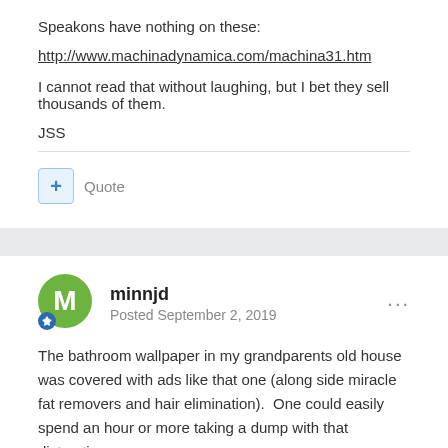Speakons have nothing on these:
http://www.machinadynamica.com/machina31.htm
I cannot read that without laughing, but I bet they sell thousands of them.
JSS
minnjd
Posted September 2, 2019
The bathroom wallpaper in my grandparents old house was covered with ads like that one (along side miracle fat removers and hair elimination).  One could easily spend an hour or more taking a dump with that distraction